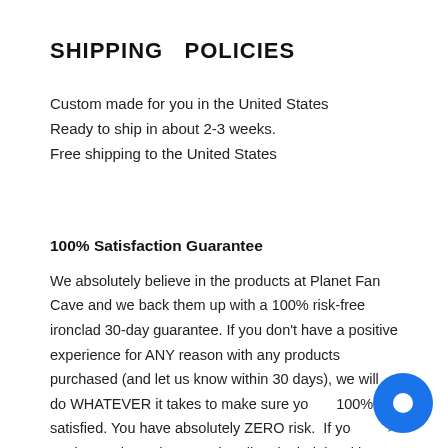SHIPPING & POLICIES
Custom made for you in the United States
Ready to ship in about 2-3 weeks.
Free shipping to the United States
100% Satisfaction Guarantee
We absolutely believe in the products at Planet Fan Cave and we back them up with a 100% risk-free ironclad 30-day guarantee. If you don't have a positive experience for ANY reason with any products purchased (and let us know within 30 days), we will do WHATEVER it takes to make sure you're 100% satisfied. You have absolutely ZERO risk. If you're not happy, let us know and we'll make it right with a refund or other action. 😊 24/7/365 email support. Contact us if you need
[Figure (illustration): Blue circular chat/support bubble icon in the bottom right corner]